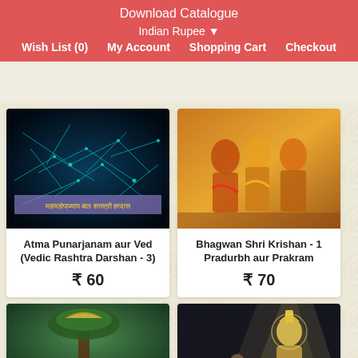Download Catalogue
Indian Rupee ▼
Wish List (0)  My Account  Shopping Cart  Checkout
[Figure (photo): Book cover with blue-green neural/energy network pattern and Hindi text in yellow: महामहोपाध्याय बाल शास्त्री हरदास]
Atma Punarjanam aur Ved (Vedic Rashtra Darshan - 3)
₹ 60
[Figure (photo): Hindu religious painting showing figures in traditional Indian attire with orange and yellow cloth]
Bhagwan Shri Krishan - 1 Pradurbh aur Prakram
₹ 70
[Figure (photo): Hindu religious illustration with Krishna under a tree with umbrella, partially visible]
[Figure (photo): Hindu religious image of a divine figure in golden attire with light background, partially visible]